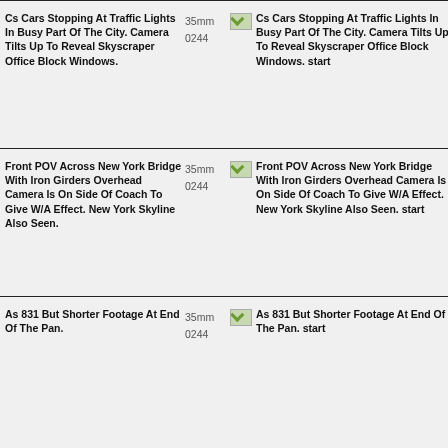Cs Cars Stopping At Traffic Lights In Busy Part Of The City. Camera Tilts Up To Reveal Skyscraper Office Block Windows.
35mm
0244
Cs Cars Stopping At Traffic Lights In Busy Part Of The City. Camera Tilts Up To Reveal Skyscraper Office Block Windows. start
Front POV Across New York Bridge With Iron Girders Overhead Camera Is On Side Of Coach To Give W/A Effect. New York Skyline Also Seen.
35mm
0244
Front POV Across New York Bridge With Iron Girders Overhead Camera Is On Side Of Coach To Give W/A Effect. New York Skyline Also Seen. start
As 831 But Shorter Footage At End Of The Pan.
35mm
0244
As 831 But Shorter Footage At End Of The Pan. start